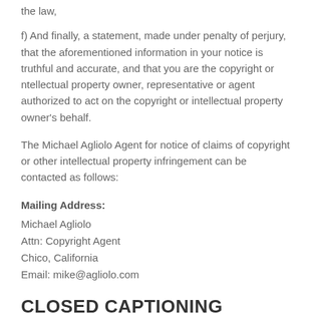the law,
f) And finally, a statement, made under penalty of perjury, that the aforementioned information in your notice is truthful and accurate, and that you are the copyright or ntellectual property owner, representative or agent authorized to act on the copyright or intellectual property owner's behalf.
The Michael Agliolo Agent for notice of claims of copyright or other intellectual property infringement can be contacted as follows:
Mailing Address:
Michael Agliolo
Attn: Copyright Agent
Chico, California
Email: mike@agliolo.com
CLOSED CAPTIONING